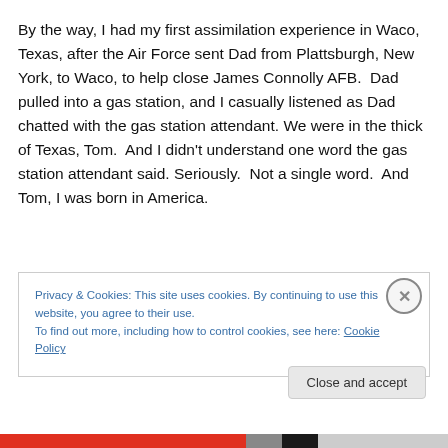By the way, I had my first assimilation experience in Waco, Texas, after the Air Force sent Dad from Plattsburgh, New York, to Waco, to help close James Connolly AFB.  Dad pulled into a gas station, and I casually listened as Dad chatted with the gas station attendant. We were in the thick of Texas, Tom.  And I didn't understand one word the gas station attendant said. Seriously.  Not a single word.  And Tom, I was born in America.
Privacy & Cookies: This site uses cookies. By continuing to use this website, you agree to their use.
To find out more, including how to control cookies, see here: Cookie Policy